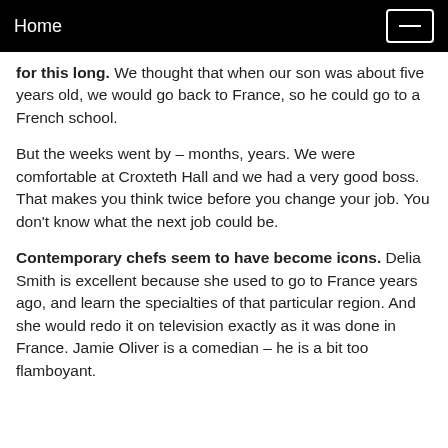Home
for this long. We thought that when our son was about five years old, we would go back to France, so he could go to a French school.
But the weeks went by – months, years. We were comfortable at Croxteth Hall and we had a very good boss. That makes you think twice before you change your job. You don't know what the next job could be.
Contemporary chefs seem to have become icons. Delia Smith is excellent because she used to go to France years ago, and learn the specialties of that particular region. And she would redo it on television exactly as it was done in France. Jamie Oliver is a comedian – he is a bit too flamboyant.